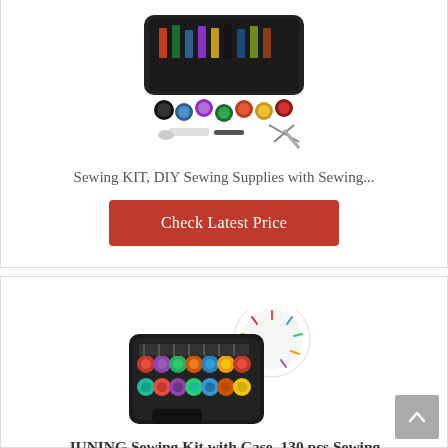[Figure (photo): Photo of a sewing kit with various threads, scissors, needles and accessories spread out]
Sewing KIT, DIY Sewing Supplies with Sewing...
Check Latest Price
BESTSELLER NO. 3
[Figure (photo): Photo of JUNING sewing kit in a black case with colorful thread spools and a circular pin cushion]
JUNING Sewing Kit with Case, 130 pcs Sewing